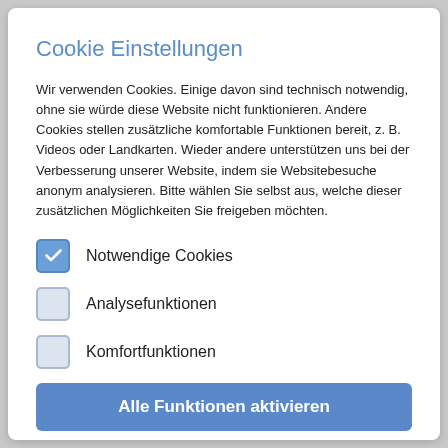Cookie Einstellungen
Wir verwenden Cookies. Einige davon sind technisch notwendig, ohne sie würde diese Website nicht funktionieren. Andere Cookies stellen zusätzliche komfortable Funktionen bereit, z. B. Videos oder Landkarten. Wieder andere unterstützen uns bei der Verbesserung unserer Website, indem sie Websitebesuche anonym analysieren. Bitte wählen Sie selbst aus, welche dieser zusätzlichen Möglichkeiten Sie freigeben möchten.
Notwendige Cookies (checked)
Analysefunktionen (unchecked)
Komfortfunktionen (unchecked)
Alle Funktionen aktivieren
Ablehnen
Nur die ausgewählten Funktionen aktivieren